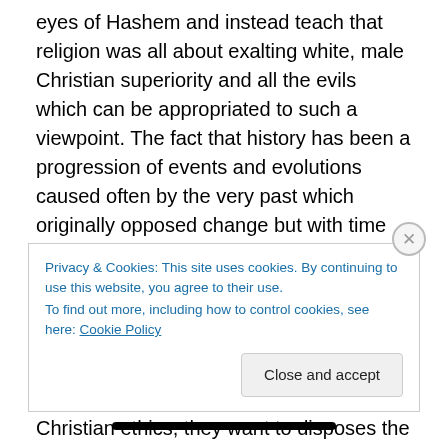eyes of Hashem and instead teach that religion was all about exalting white, male Christian superiority and all the evils which can be appropriated to such a viewpoint. The fact that history has been a progression of events and evolutions caused often by the very past which originally opposed change but with time softened and became champions of the progressive changes in society. The reason for the new view demonizing the past of the youths' parents and ancestors and pressing that all their views which are actually the logical result of the Judeo-Christian ethics, they want to disposes the past and make the youth
Privacy & Cookies: This site uses cookies. By continuing to use this website, you agree to their use.
To find out more, including how to control cookies, see here: Cookie Policy